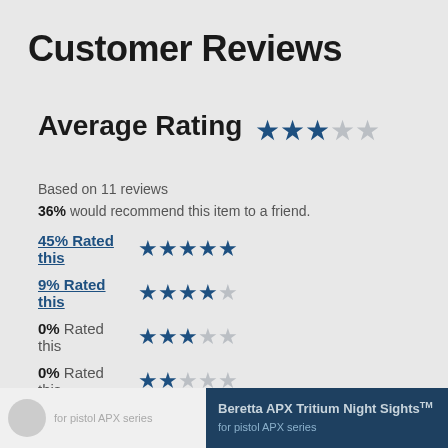Customer Reviews
Average Rating ★★★☆☆
Based on 11 reviews
36% would recommend this item to a friend.
45% Rated this ★★★★★
9% Rated this ★★★★☆
0% Rated this ★★★☆☆
0% Rated this ★★☆☆☆
45% Rated this ★☆☆☆☆
Beretta APX Tritium Night Sights for pistol APX series